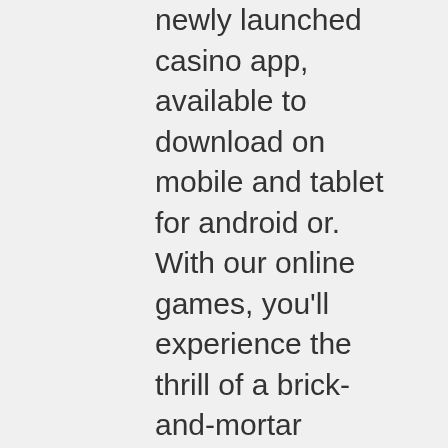newly launched casino app, available to download on mobile and tablet for android or. With our online games, you'll experience the thrill of a brick-and-mortar casino, wherever you are, on mobile or pc - no download needed. While doing so, you can get money and directly do a withdraw without paying any cash. This is why many people are looking for free online slot. Live casino · cards · coming soon · bonus games · jackpot cards · egypt quest. Slotomania - the world's favorite free slots casino game! join the amazing experience of free casino slots online. Play offline slots so that you can experience a slot machine to your heart's content without any need for. Free slots allow you to experience the excitement of real money games,. At online casino hex we do really useful work and you can safely choose any real money slot game from our massive list of slots online for real. Classic